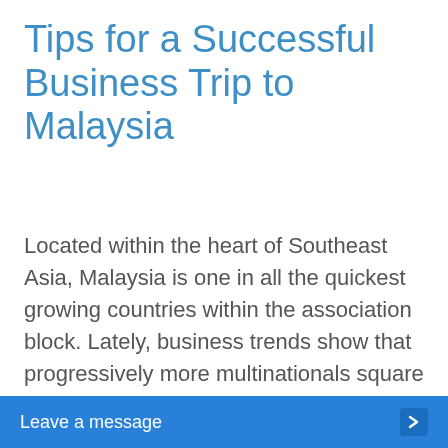Tips for a Successful Business Trip to Malaysia
Located within the heart of Southeast Asia, Malaysia is one in all the quickest growing countries within the association block. Lately, business trends show that progressively more multinationals square measure fixing offshore producing operations in Malaysia to cater to each regional and international markets. make your business trip to Malaysia effective and successful. However, their square measure a number of basic questions that di...
Leave a message